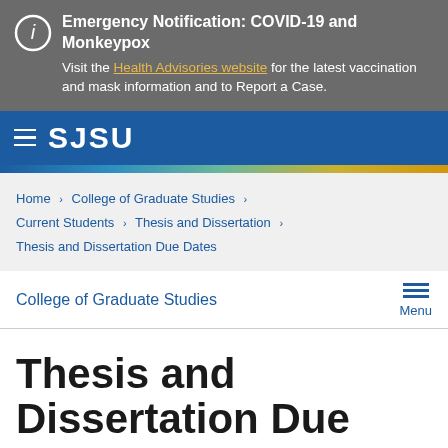Emergency Notification: COVID-19 and Monkeypox. Visit the Health Advisories website for the latest vaccination and mask information and to Report a Case.
[Figure (screenshot): SJSU website navigation bar with hamburger menu and SJSU wordmark on blue background]
Home > College of Graduate Studies > Current Students > Thesis and Dissertation > Thesis and Dissertation Due Dates
College of Graduate Studies
Thesis and Dissertation Due Dates